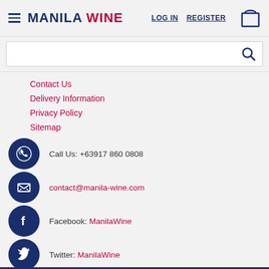MANILA WINE — LOG IN  REGISTER
Contact Us
Delivery Information
Privacy Policy
Sitemap
Call Us: +63917 860 0808
contact@manila-wine.com
Facebook: ManilaWine
Twitter: ManilaWine
Instagram: ManilaWine